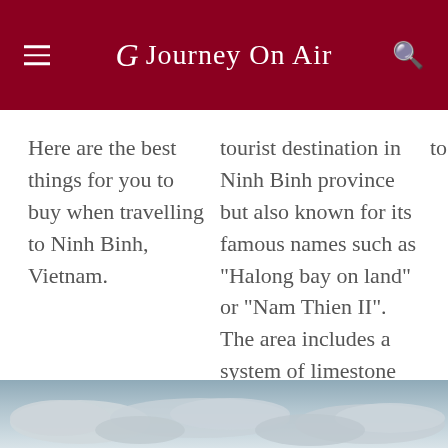Journey On Air
Here are the best things for you to buy when travelling to Ninh Binh, Vietnam.
tourist destination in Ninh Binh province but also known for its famous names such as "Halong bay on land" or "Nam Thien II". The area includes a system of limestone karst caves and historical relics.
to
[Figure (photo): Sky with clouds — bottom strip of a landscape photograph showing a cloudy sky]